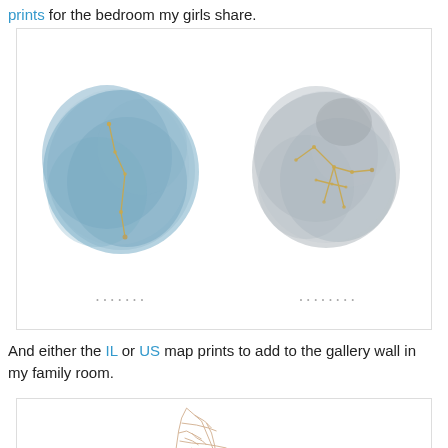prints for the bedroom my girls share.
[Figure (illustration): Two watercolor constellation prints side by side. Left: a blue watercolor circle with a gold constellation (Virgo/similar) and small caption text below. Right: a gray watercolor circle with a gold constellation (Orion/similar) and small caption text below.]
And either the IL or US map prints to add to the gallery wall in my family room.
[Figure (illustration): A partial view of a tan/gold line-art map print of Illinois (IL) shown against a white background inside a bordered image box.]